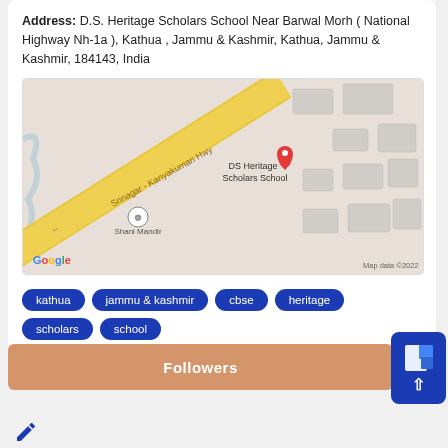Address: D.S. Heritage Scholars School Near Barwal Morh ( National Highway Nh-1a ), Kathua , Jammu & Kashmir, Kathua, Jammu & Kashmir, 184143, India
[Figure (map): Google Maps screenshot showing DS Heritage Scholars School near Srinagar-Kanyakumari Hwy with a red location pin. Shani Mandir also visible. Map data ©2022.]
kathua
jammu & kashmir
cbse
heritage
scholars
school
Followers